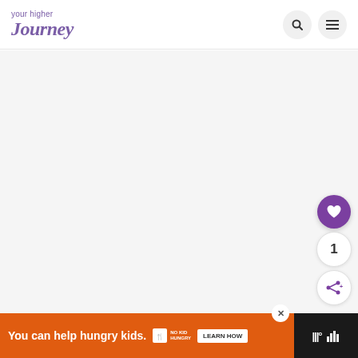your higher journey — navigation header with search and menu icons
[Figure (screenshot): Large white/light gray content area below the header, main page body area]
[Figure (infographic): Floating action buttons on the right side: purple heart/like button, count badge showing 1, and share button with plus icon]
[Figure (infographic): Orange advertisement banner at bottom: 'You can help hungry kids.' with No Kid Hungry logo and LEARN HOW button, with X close button and dark right section with audio/media controls]